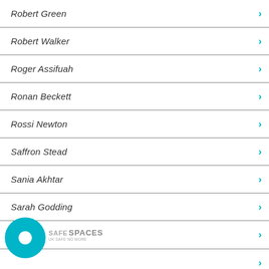Robert Green
Robert Walker
Roger Assifuah
Ronan Beckett
Rossi Newton
Saffron Stead
Sania Akhtar
Sarah Godding
[Figure (logo): Safe Spaces UK Safe No More logo — teal circle with white inner circle, text SAFE SPACES UK SAFE NO MORE]